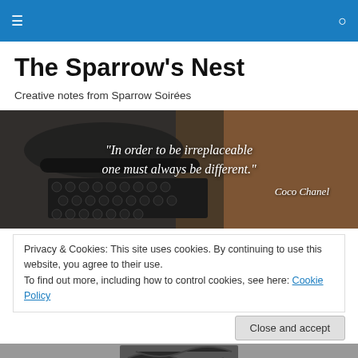Navigation bar with hamburger menu and search icon
The Sparrow's Nest
Creative notes from Sparrow Soirées
[Figure (photo): Close-up photo of a vintage typewriter with quote overlay: "In order to be irreplaceable one must always be different." — Coco Chanel]
Privacy & Cookies: This site uses cookies. By continuing to use this website, you agree to their use. To find out more, including how to control cookies, see here: Cookie Policy
[Figure (photo): Partial view of another image at the bottom of the page]